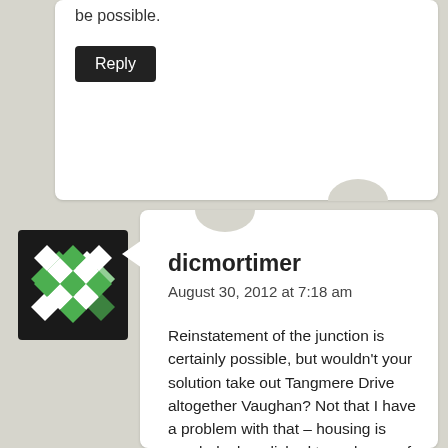be possible.
Reply
[Figure (illustration): Avatar image with green and white geometric diamond/quilt pattern on black background]
dicmortimer
August 30, 2012 at 7:18 am
Reinstatement of the junction is certainly possible, but wouldn’t your solution take out Tangmere Drive altogether Vaughan? Not that I have a problem with that – housing is regularly demolished to make way for roads – but perhaps following the line of Llantrisant Road would be less disruptive.